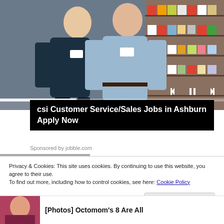[Figure (photo): Two grocery store workers in uniform standing in a store aisle with shelves of products behind them. One wears a dark jacket, the other a light blue shirt. A progress bar and media playback controls are overlaid at the bottom of the image.]
csi Customer Service/Sales Jobs in Ashburn Apply Now
Sponsored by jobble.com
Privacy & Cookies: This site uses cookies. By continuing to use this website, you agree to their use.
To find out more, including how to control cookies, see here: Cookie Policy
Close and accept
[Photos] Octomom's 8 Are All